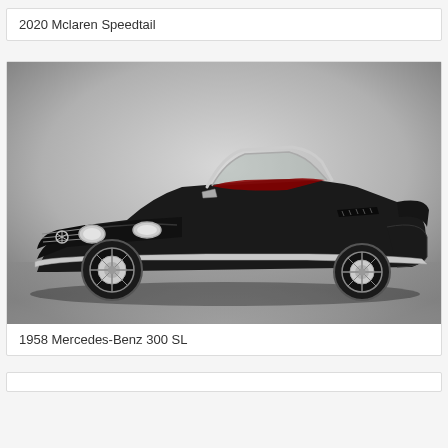2020 Mclaren Speedtail
[Figure (photo): Black 1958 Mercedes-Benz 300 SL roadster photographed from a front three-quarter angle on a grey gradient background, showing chrome details, open top, and red interior]
1958 Mercedes-Benz 300 SL